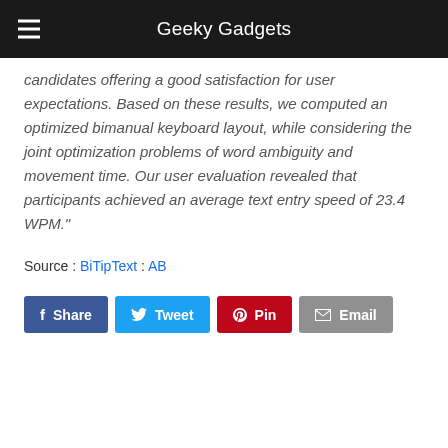Geeky Gadgets
candidates offering a good satisfaction for user expectations. Based on these results, we computed an optimized bimanual keyboard layout, while considering the joint optimization problems of word ambiguity and movement time. Our user evaluation revealed that participants achieved an average text entry speed of 23.4 WPM."
Source : BiTipText : AB